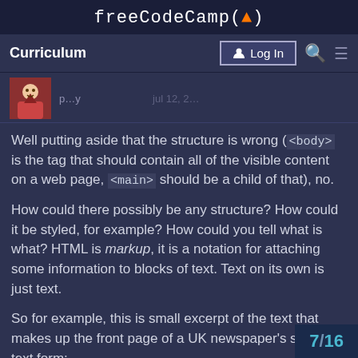freeCodeCamp(🔥)
Curriculum | Log In | Search | Menu
[Figure (illustration): User avatar thumbnail of an illustrated character]
Well putting aside that the structure is wrong (<body> is the tag that should contain all of the visible content on a web page, <main> should be a child of that), no.
How could there possibly be any structure? How could it be styled, for example? How could you tell what is what? HTML is markup, it is a notation for attaching some information to blocks of text. Text on its own is just text.
So for example, this is small excerpt of the text that makes up the front page of a UK newspaper's site, in text form:
7/16